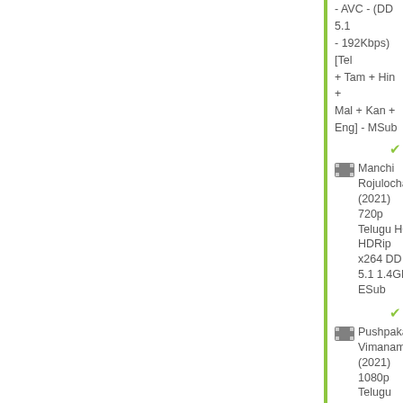- AVC - (DD 5.1 - 192Kbps) [Tel + Tam + Hin + Mal + Kan + Eng] - MSub
Manchi Rojulochaie (2021) 720p Telugu HQ HDRip x264 DD 5.1 1.4GB ESub
Pushpaka Vimanam (2021) 1080p Telugu WEB-DL AVC AAC 2.2GB ESub
UNSTOPPABLE (2021) 720p Telugu S01 EP03 TRUE NTT DL 4K...